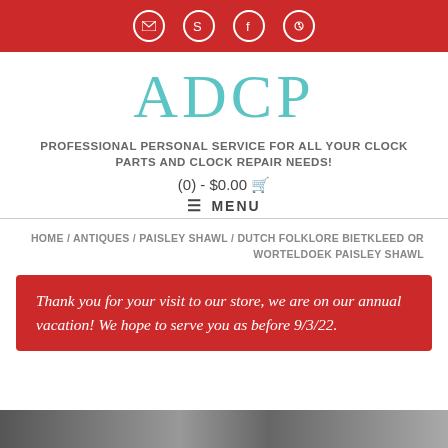Social icons: email, Skype, Facebook, Pinterest
ADCP
PROFESSIONAL PERSONAL SERVICE FOR ALL YOUR CLOCK PARTS AND CLOCK REPAIR NEEDS!
(0) - $0.00 🛒
≡ MENU
HOME / ANTIQUES / PAISLEY SHAWL / DUTCH FOLKLORE BIETKLEED OR WORTELDOEK PAISLEY SHAWL
Thank you for your visit to our store, we are on our annual vacation! We hope to serve you as before 9/3/22.
[Figure (photo): Bottom strip showing partial product images]